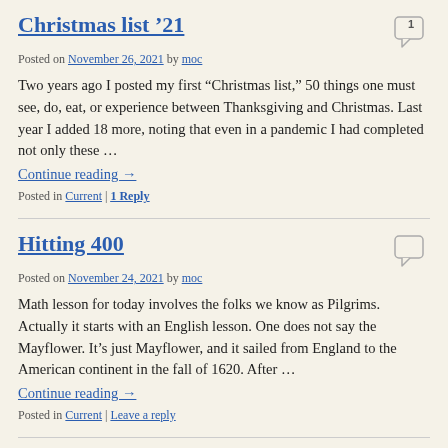Christmas list '21
Posted on November 26, 2021 by moc
Two years ago I posted my first “Christmas list,” 50 things one must see, do, eat, or experience between Thanksgiving and Christmas. Last year I added 18 more, noting that even in a pandemic I had completed not only these …
Continue reading →
Posted in Current | 1 Reply
Hitting 400
Posted on November 24, 2021 by moc
Math lesson for today involves the folks we know as Pilgrims. Actually it starts with an English lesson. One does not say the Mayflower. It’s just Mayflower, and it sailed from England to the American continent in the fall of 1620. After …
Continue reading →
Posted in Current | Leave a reply
Motherproblem...